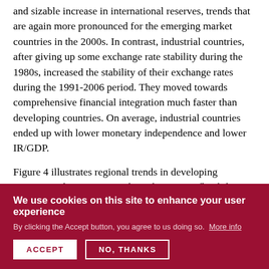and sizable increase in international reserves, trends that are again more pronounced for the emerging market countries in the 2000s. In contrast, industrial countries, after giving up some exchange rate stability during the 1980s, increased the stability of their exchange rates during the 1991-2006 period. They moved towards comprehensive financial integration much faster than developing countries. On average, industrial countries ended up with lower monetary independence and lower IR/GDP.
Figure 4 illustrates regional trends in developing countries. The move towards exchange rate flexibility is most evident in developing Asia and Latin America. Emerging Asian economies shared this trend until 2000, at which time
We use cookies on this site to enhance your user experience
By clicking the Accept button, you agree to us doing so. More info
ACCEPT
NO, THANKS